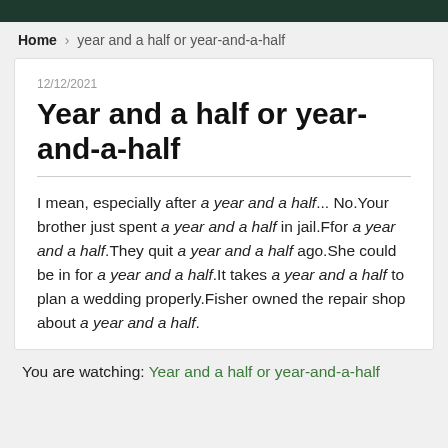Home › year and a half or year-and-a-half
12/12/2021
Year and a half or year-and-a-half
I mean, especially after a year and a half... No.Your brother just spent a year and a half in jail.Ffor a year and a half.They quit a year and a half ago.She could be in for a year and a half.It takes a year and a half to plan a wedding properly.Fisher owned the repair shop about a year and a half.
You are watching: Year and a half or year-and-a-half